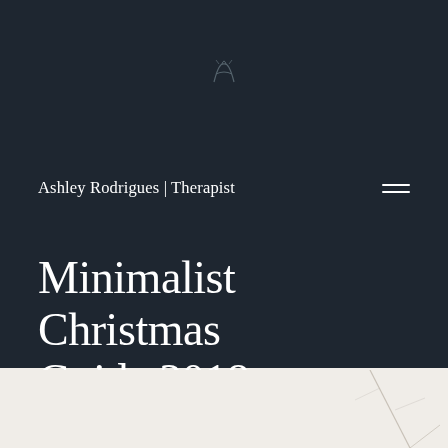[Figure (logo): Small decorative script/crest logo in muted color centered at top of dark header]
Ashley Rodrigues | Therapist
Minimalist Christmas Guide 2018
[Figure (photo): Light cream/off-white background with thin dark twig or branch visible in lower right area]